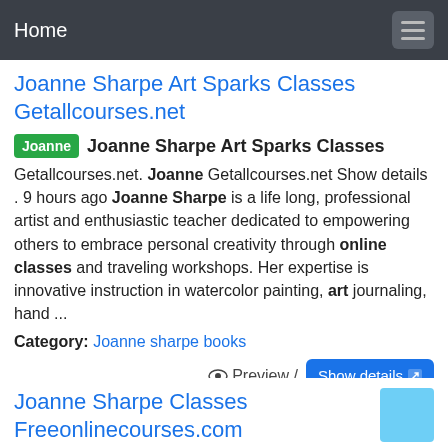Home
Joanne Sharpe Art Sparks Classes Getallcourses.net
Joanne  Joanne Sharpe Art Sparks Classes
Getallcourses.net. Joanne Getallcourses.net Show details . 9 hours ago Joanne Sharpe is a life long, professional artist and enthusiastic teacher dedicated to empowering others to embrace personal creativity through online classes and traveling workshops. Her expertise is innovative instruction in watercolor painting, art journaling, hand ...
Category: Joanne sharpe books
Preview / Show details
Joanne Sharpe Classes Freeonlinecourses.com